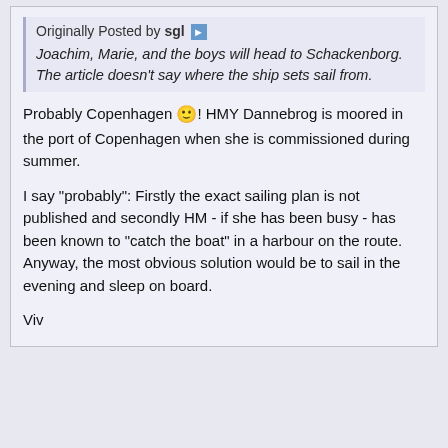Originally Posted by sgl
Joachim, Marie, and the boys will head to Schackenborg.
The article doesn't say where the ship sets sail from.
Probably Copenhagen 🙂! HMY Dannebrog is moored in the port of Copenhagen when she is commissioned during summer.
I say "probably": Firstly the exact sailing plan is not published and secondly HM - if she has been busy - has been known to "catch the boat" in a harbour on the route. Anyway, the most obvious solution would be to sail in the evening and sleep on board.
Viv